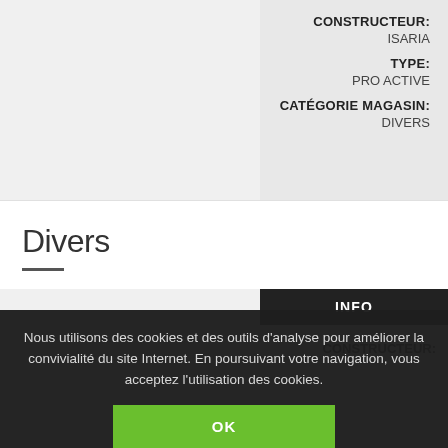CONSTRUCTEUR: ISARIA
TYPE: PRO ACTIVE
CATÉGORIE MAGASIN: DIVERS
Divers
INFO
CONSTRUCTEUR:
Nous utilisons des cookies et des outils d'analyse pour améliorer la convivialité du site Internet. En poursuivant votre navigation, vous acceptez l'utilisation des cookies.
OK